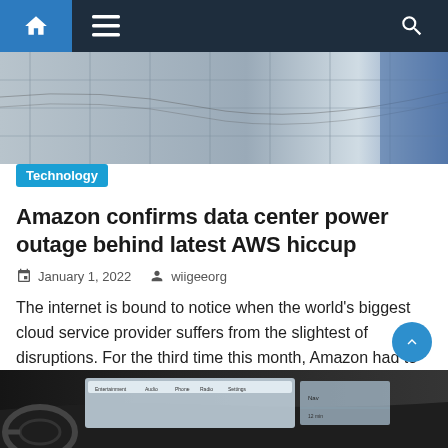Navigation bar with home, menu, and search icons
[Figure (photo): Building exterior with large glass windows, gray facade]
Technology
Amazon confirms data center power outage behind latest AWS hiccup
January 1, 2022   wiigeeorg
The internet is bound to notice when the world's biggest cloud service provider suffers from the slightest of disruptions. For the third time this month, Amazon had to deal with an AWS outage that affected services including Slack, Imgur, Epic Games, and Asana, among others. It's been a tough month for AWS and dependent businesses, [...]
[Figure (photo): Car interior dashboard with infotainment screen showing navigation]